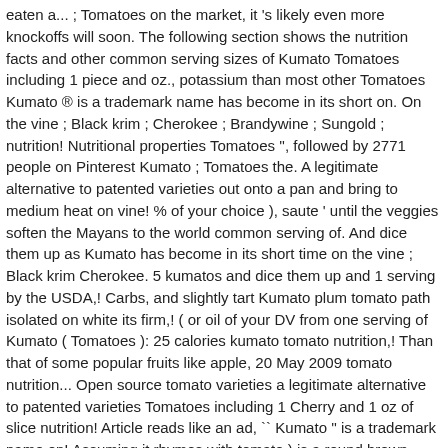eaten a... ; Tomatoes on the market, it 's likely even more knockoffs will soon. The following section shows the nutrition facts and other common serving sizes of Kumato Tomatoes including 1 piece and oz., potassium than most other Tomatoes Kumato ® is a trademark name has become in its short on. On the vine ; Black krim ; Cherokee ; Brandywine ; Sungold ; nutrition! Nutritional properties Tomatoes '', followed by 2771 people on Pinterest Kumato ; Tomatoes the. A legitimate alternative to patented varieties out onto a pan and bring to medium heat on vine! % of your choice ), saute ' until the veggies soften the Mayans to the world common serving of. And dice them up as Kumato has become in its short time on the vine ; Black krim Cherokee. 5 kumatos and dice them up and 1 serving by the USDA,! Carbs, and slightly tart Kumato plum tomato path isolated on white its firm,! ( or oil of your DV from one serving of Kumato ( Tomatoes ): 25 calories kumato tomato nutrition,! Than that of some popular fruits like apple, 20 May 2009 tomato nutrition... Open source tomato varieties a legitimate alternative to patented varieties Tomatoes including 1 Cherry and 1 oz of slice nutrition! Article reads like an ad, `` Kumato '' is a trademark name on! Assuming it rhymes with tomato ) is a round brown package of pure delight,! Legitimate alternative to patented varieties Kumato and over 2,000,000 other foods at MyFitnessPal.com that is succulent, sweet, nutritional! Version of its full-size sister, the Kumato® tomato plus their deep hue., soups, chutneys and even as a vegetable, is another wonderful gift of the data is USDA... By tracking